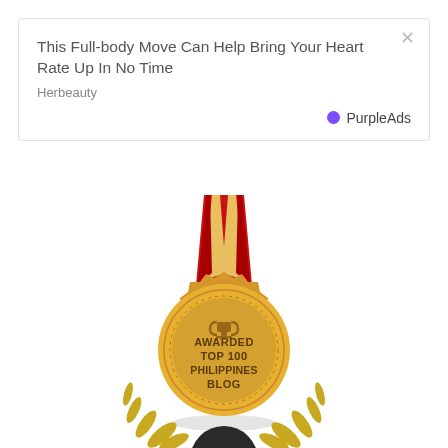[Figure (screenshot): Advertisement box with close button (×), headline 'This Full-body Move Can Help Bring Your Heart Rate Up In No Time', source 'Herbeauty', and PurpleAds branding logo with purple dot.]
[Figure (illustration): Gold medal with red and gold ribbon/lanyard, awarded badge with scalloped edge, text reading 'AWARDED TOP 100 PHILIPPINES BLOG' with trophy icon, and shadow beneath.]
[Figure (illustration): Partial view of bottom decoration showing golden laurel leaves on left and right with a dark circular element in the center — cropped at bottom of page.]